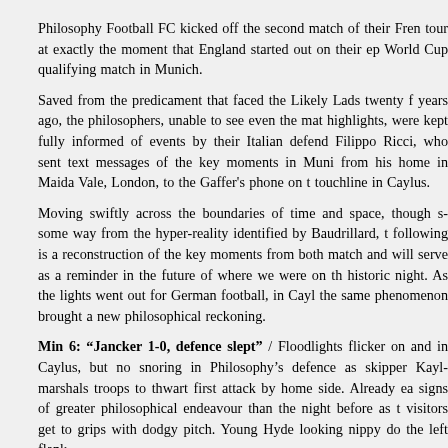Philosophy Football FC kicked off the second match of their French tour at exactly the moment that England started out on their epic World Cup qualifying match in Munich.
Saved from the predicament that faced the Likely Lads twenty five years ago, the philosophers, unable to see even the match highlights, were kept fully informed of events by their Italian defender Filippo Ricci, who sent text messages of the key moments in Munich from his home in Maida Vale, London, to the Gaffer's phone on the touchline in Caylus.
Moving swiftly across the boundaries of time and space, though some way from the hyper-reality identified by Baudrillard, the following is a reconstruction of the key moments from both matches and will serve as a reminder in the future of where we were on this historic night. As the lights went out for German football, in Caylus the same phenomenon brought a new philosophical reckoning.
Min 6: “Jancker 1-0, defence slept” / Floodlights flicker on and in Caylus, but no snoring in Philosophy’s defence as skipper Kayle marshals troops to thwart first attack by home side. Already early signs of greater philosophical endeavour than the night before as the visitors get to grips with dodgy pitch. Young Hyde looking nippy down the left flank.
Min 13: “Michael Owen, who else? 1-1” / Crunching tackle in the twilight zone. Owen Mather, who else?